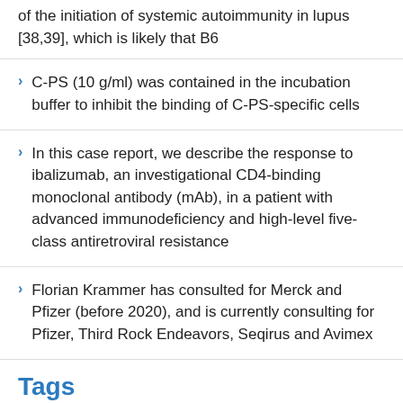of the initiation of systemic autoimmunity in lupus [38,39], which is likely that B6
C-PS (10 g/ml) was contained in the incubation buffer to inhibit the binding of C-PS-specific cells
In this case report, we describe the response to ibalizumab, an investigational CD4-binding monoclonal antibody (mAb), in a patient with advanced immunodeficiency and high-level five-class antiretroviral resistance
Florian Krammer has consulted for Merck and Pfizer (before 2020), and is currently consulting for Pfizer, Third Rock Endeavors, Seqirus and Avimex
Tags
Abiraterone Acetate
Ambrisentan
Arry-520